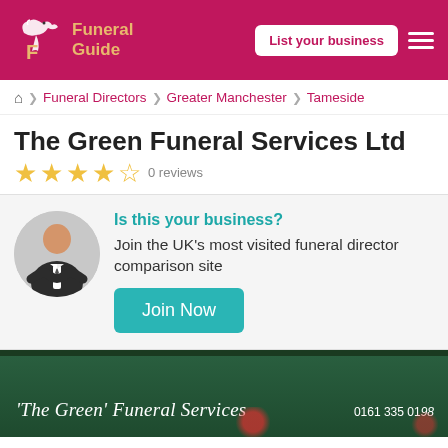Funeral Guide — List your business
Home > Funeral Directors > Greater Manchester > Tameside
The Green Funeral Services Ltd
0 reviews
Is this your business? Join the UK's most visited funeral director comparison site
Join Now
[Figure (photo): Photo of The Green Funeral Services shopfront sign reading "'The Green' Funeral Services 0161 335 0198"]